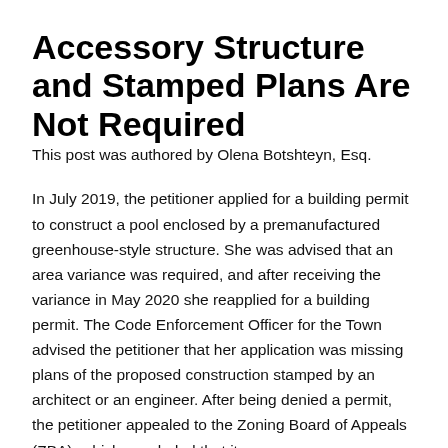Accessory Structure and Stamped Plans Are Not Required
This post was authored by Olena Botshteyn, Esq.
In July 2019, the petitioner applied for a building permit to construct a pool enclosed by a premanufactured greenhouse-style structure. She was advised that an area variance was required, and after receiving the variance in May 2020 she reapplied for a building permit. The Code Enforcement Officer for the Town advised the petitioner that her application was missing plans of the proposed construction stamped by an architect or an engineer. After being denied a permit, the petitioner appealed to the Zoning Board of Appeals (ZBA), which concluded that it